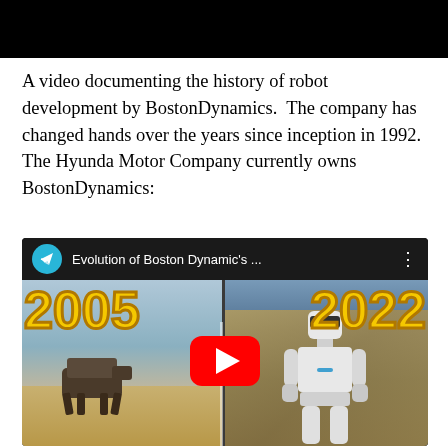[Figure (screenshot): Black rectangle at the top of the page, representing a video or dark header image.]
A video documenting the history of robot development by BostonDynamics.  The company has changed hands over the years since inception in 1992.  The Hyunda Motor Company currently owns BostonDynamics:
[Figure (screenshot): YouTube video thumbnail showing 'Evolution of Boston Dynamic's ...' with a Telegram icon, split image showing '2005' with a quadruped robot on a beach on the left, and '2022' with a humanoid Boston Dynamics robot on the right, with a red YouTube play button in the center.]